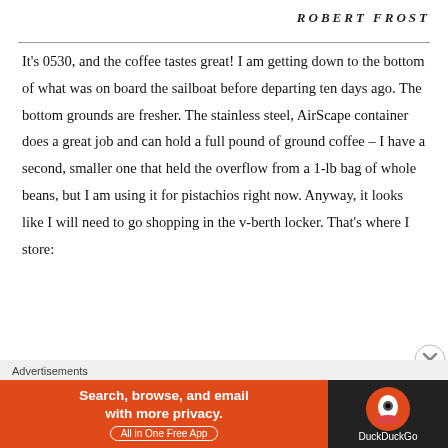ROBERT FROST
It's 0530, and the coffee tastes great! I am getting down to the bottom of what was on board the sailboat before departing ten days ago. The bottom grounds are fresher. The stainless steel, AirScape container does a great job and can hold a full pound of ground coffee – I have a second, smaller one that held the overflow from a 1-lb bag of whole beans, but I am using it for pistachios right now. Anyway, it looks like I will need to go shopping in the v-berth locker. That's where I store:
180-days of breakfast supplies
16.25 pounds of Italian Roast coffee
21-pounds of Nido powdered milk